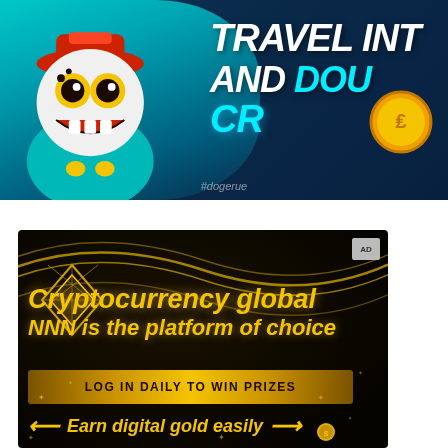[Figure (illustration): Top advertisement banner with teal/cyan background, cartoon cat skull character on left wearing red hat, white bold text 'TRAVEL INT' and 'AND DOU' and 'CR' on right side, gold coin on far right, dark blue background, hashtag #dogerue at bottom center]
[Figure (illustration): Bottom advertisement banner with black background, gold wave lines, diamond geometric shape top-left, text 'Cryptocurrency global' and 'NNN is the platform of choice' in gold italic font, gold banner 'LOG IN DAILY TO WIN PRIZES', gold text 'Earn digital gold easily' with arrow decorations, scattered gold sparkles]